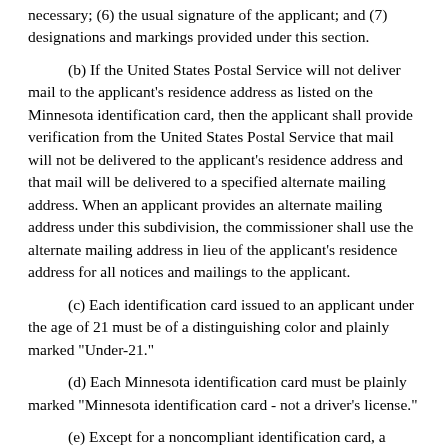necessary; (6) the usual signature of the applicant; and (7) designations and markings provided under this section.
(b) If the United States Postal Service will not deliver mail to the applicant's residence address as listed on the Minnesota identification card, then the applicant shall provide verification from the United States Postal Service that mail will not be delivered to the applicant's residence address and that mail will be delivered to a specified alternate mailing address. When an applicant provides an alternate mailing address under this subdivision, the commissioner shall use the alternate mailing address in lieu of the applicant's residence address for all notices and mailings to the applicant.
(c) Each identification card issued to an applicant under the age of 21 must be of a distinguishing color and plainly marked "Under-21."
(d) Each Minnesota identification card must be plainly marked "Minnesota identification card - not a driver's license."
(e) Except for a noncompliant identification card, a Minnesota identification card must bear a distinguishing indicator for compliance with requirements of the REAL ID Act.